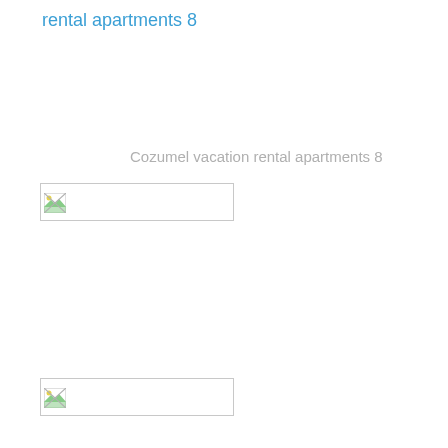rental apartments 8
Cozumel vacation rental apartments 8
[Figure (photo): Broken image placeholder (image failed to load), first image]
[Figure (photo): Broken image placeholder (image failed to load), second image]